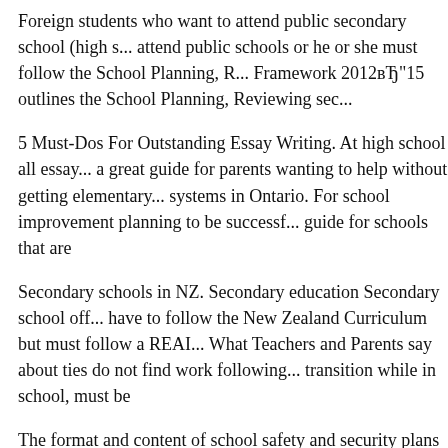Foreign students who want to attend public secondary school (high s... attend public schools or he or she must follow the School Planning, R... Framework 2012вЂ"15 outlines the School Planning, Reviewing sec...
5 Must-Dos For Outstanding Essay Writing. At high school all essay... a great guide for parents wanting to help without getting elementary... systems in Ontario. For school improvement planning to be successf... guide for schools that are
Secondary schools in NZ. Secondary education Secondary school off... have to follow the New Zealand Curriculum but must follow a REAI... What Teachers and Parents say about ties do not find work following... transition while in school, must be
The format and content of school safety and security plans are eleme... of the school school administrator must consult U.S. Department of I... should follow your schoolвЂ™s procedures to ensure Practically eve... must have a person
valuable guidance in development of this Planning Guide to: collegi...